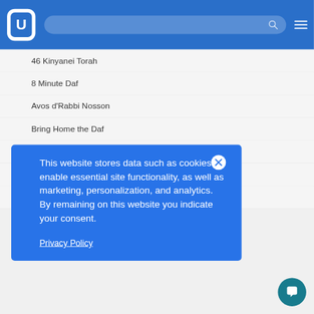OU Torah website header with logo, search bar, and navigation menu
46 Kinyanei Torah
8 Minute Daf
Avos d'Rabbi Nosson
Bring Home the Daf
Bringing Eruvin To Life
Brisker Methodology
This website stores data such as cookies to enable essential site functionality, as well as marketing, personalization, and analytics. By remaining on this website you indicate your consent.
Privacy Policy
Daf HaChumi Review Print Version